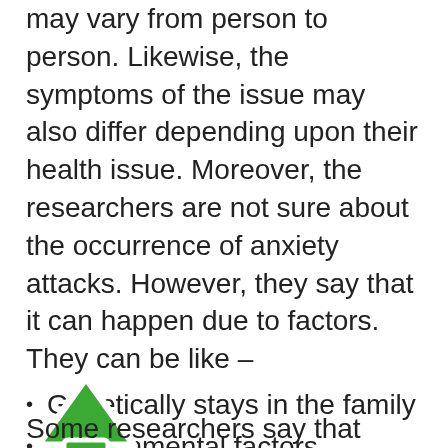may vary from person to person. Likewise, the symptoms of the issue may also differ depending upon their health issue. Moreover, the researchers are not sure about the occurrence of anxiety attacks. However, they say that it can happen due to factors. They can be like –
Genetically stays in the family
Environmental factors
Change in brain chemistry
[Figure (illustration): Green upward arrow icon (arrowhead shape)]
Some researchers say that